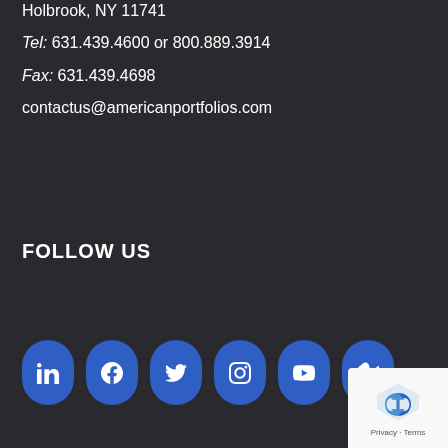Holbrook, NY 11741
Tel: 631.439.4600 or 800.889.3914
Fax: 631.439.4698
contactus@americanportfolios.com
FOLLOW US
[Figure (other): Six social media icon buttons (LinkedIn, Facebook, Twitter, Instagram, YouTube, Vimeo) displayed as blue rounded rectangle buttons with white icons]
[Figure (other): reCAPTCHA badge with Privacy and Terms links]